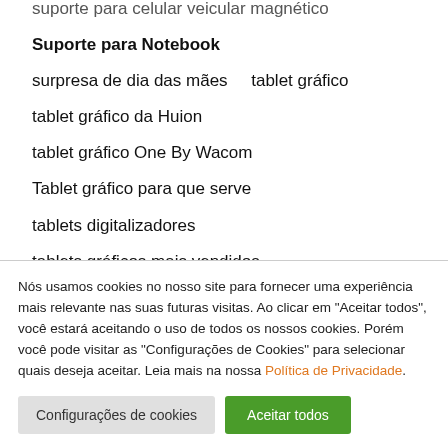suporte para celular veicular magnético
Suporte para Notebook
surpresa de dia das mães    tablet gráfico
tablet gráfico da Huion
tablet gráfico One By Wacom
Tablet gráfico para que serve
tablets digitalizadores
tablets gráficos mais vendidos
tábua de churrasco em madeira Teca (partially visible)
Nós usamos cookies no nosso site para fornecer uma experiência mais relevante nas suas futuras visitas. Ao clicar em "Aceitar todos", você estará aceitando o uso de todos os nossos cookies. Porém você pode visitar as "Configurações de Cookies" para selecionar quais deseja aceitar. Leia mais na nossa Política de Privacidade.
Configurações de cookies | Aceitar todos